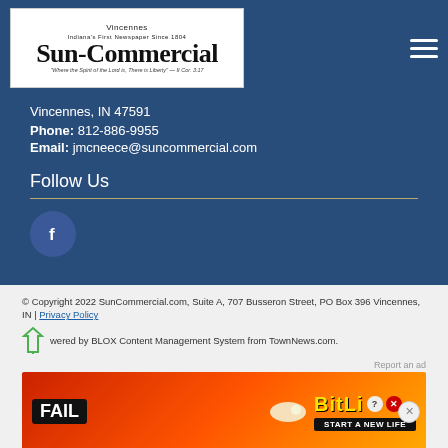[Figure (logo): Vincennes Sun-Commercial newspaper logo with building illustration]
Vincennes, IN 47591
Phone: 812-886-9955
Email: jmcneece@suncommercial.com
Follow Us
[Figure (illustration): Facebook social media icon (circular blue button with white f)]
© Copyright 2022 SunCommercial.com, Suite A, 707 Busseron Street, PO Box 396 Vincennes, IN | Privacy Policy
Powered by BLOX Content Management System from TownNews.com.
[Figure (photo): BitLife advertisement banner: FAIL START A NEW LIFE]